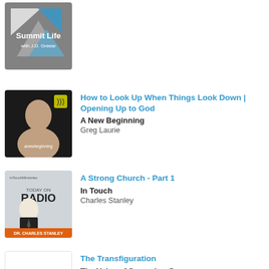[Figure (photo): Summit Life with J.D. Greear podcast logo - gray background with geometric mountain/triangle shapes in blue and white, text 'Summit Life with J.D. Greear']
[Figure (photo): A New Beginning podcast artwork - dark background with man smiling, yellow radio wave icon, text 'anewbeginning w/ Greg Laurie']
How to Look Up When Things Look Down | Opening Up to God
A New Beginning
Greg Laurie
[Figure (photo): In Touch Radio podcast artwork - Charles Stanley in suit, gray background, text 'Today on Radio' and 'DR. CHARLES STANLEY' on orange banner]
A Strong Church - Part 1
In Touch
Charles Stanley
[Figure (logo): Grace Church logo - white background with 'gc' monogram in teal/blue color, text 'gracechurch']
The Transfiguration
The Voice of Sovereign Grace
Doug Agnew